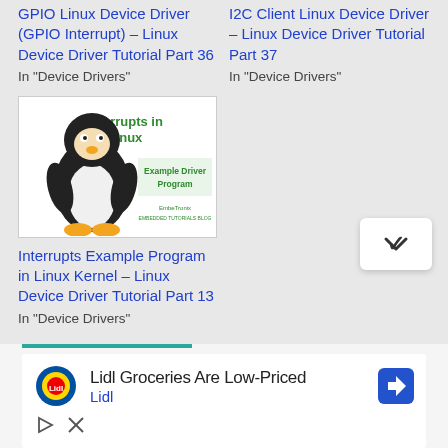GPIO Linux Device Driver (GPIO Interrupt) – Linux Device Driver Tutorial Part 36
In "Device Drivers"
I2C Client Linux Device Driver – Linux Device Driver Tutorial Part 37
In "Device Drivers"
[Figure (illustration): Linux Tux penguin mascot with 'Interrupts in Linux Example Driver Program' text and EmbeTronix logo on white background]
Interrupts Example Program in Linux Kernel – Linux Device Driver Tutorial Part 13
In "Device Drivers"
[Figure (screenshot): Advertisement: Lidl Groceries Are Low-Priced, showing Lidl logo and navigation icon, with play and close controls]